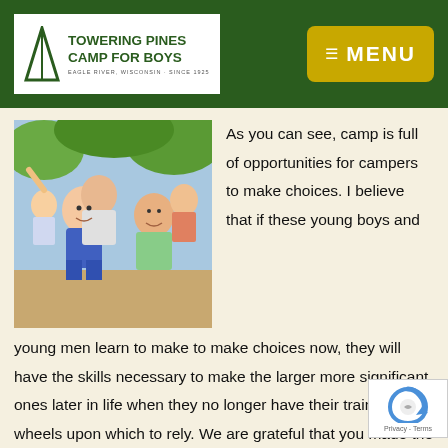TOWERING PINES CAMP FOR BOYS — EAGLE RIVER, WISCONSIN · SINCE 1925 | MENU
[Figure (photo): Boys at camp, two smiling campers piggyback riding, others in swimwear in the background outdoors]
As you can see, camp is full of opportunities for campers to make choices. I believe that if these young boys and young men learn to make to make choices now, they will have the skills necessary to make the larger more significant ones later in life when they no longer have their training wheels upon which to rely. We are grateful that you made the CHOICE to send your son to Towering Pines!!!